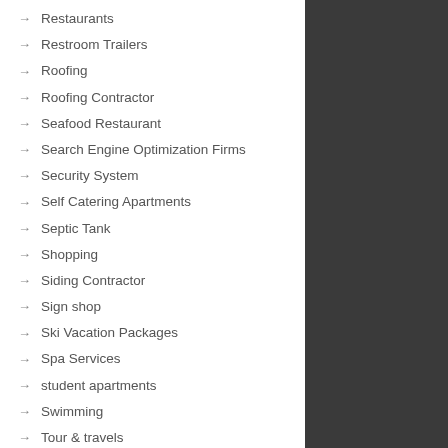Restaurants
Restroom Trailers
Roofing
Roofing Contractor
Seafood Restaurant
Search Engine Optimization Firms
Security System
Self Catering Apartments
Septic Tank
Shopping
Siding Contractor
Sign shop
Ski Vacation Packages
Spa Services
student apartments
Swimming
Tour & travels
Transportation